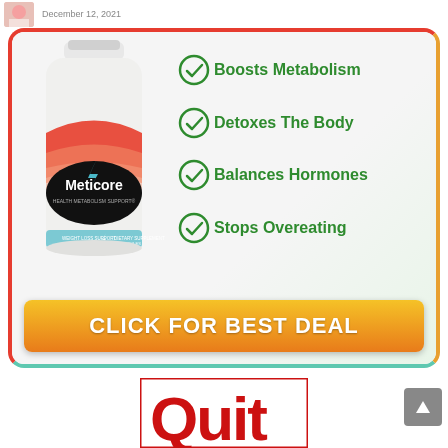December 12, 2021
[Figure (infographic): Meticore supplement advertisement showing a bottle of Meticore Health Metabolism Support capsules on the left, with four green checkmark benefit points on the right: Boosts Metabolism, Detoxes The Body, Balances Hormones, Stops Overeating. An orange gradient button at the bottom reads CLICK FOR BEST DEAL. The ad box has a red/orange/teal gradient border.]
[Figure (photo): Partial view of a red and white graphic with large red letters spelling Quit, cropped at the bottom of the page.]